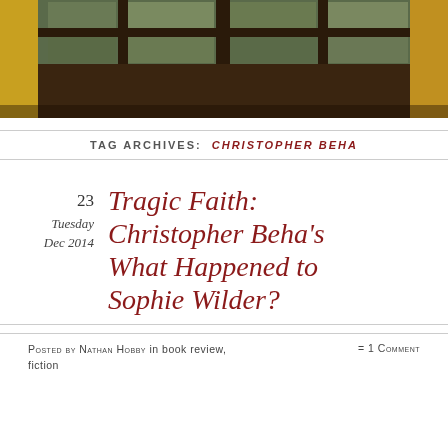[Figure (photo): Photo of a wooden window with panes looking out to greenery, with yellow curtains on the sides, dark wooden frame.]
TAG ARCHIVES: CHRISTOPHER BEHA
23
Tuesday
Dec 2014
Tragic Faith: Christopher Beha's What Happened to Sophie Wilder?
Posted by Nathan Hobby in book review, fiction   = 1 Comment